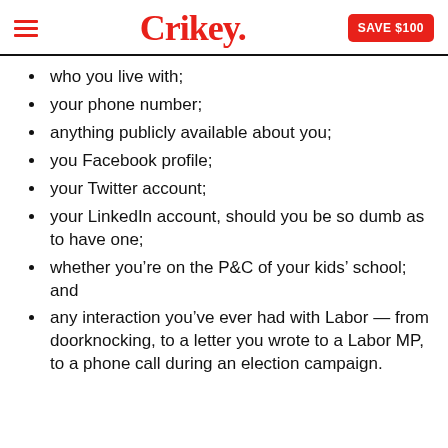Crikey. SAVE $100
who you live with;
your phone number;
anything publicly available about you;
you Facebook profile;
your Twitter account;
your LinkedIn account, should you be so dumb as to have one;
whether you're on the P&C of your kids' school; and
any interaction you've ever had with Labor — from doorknocking, to a letter you wrote to a Labor MP, to a phone call during an election campaign.